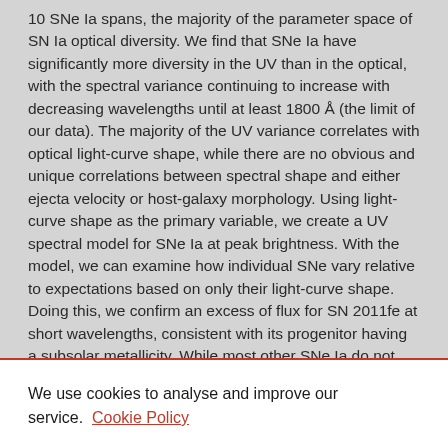10 SNe Ia spans, the majority of the parameter space of SN Ia optical diversity. We find that SNe Ia have significantly more diversity in the UV than in the optical, with the spectral variance continuing to increase with decreasing wavelengths until at least 1800 Å (the limit of our data). The majority of the UV variance correlates with optical light-curve shape, while there are no obvious and unique correlations between spectral shape and either ejecta velocity or host-galaxy morphology. Using light-curve shape as the primary variable, we create a UV spectral model for SNe Ia at peak brightness. With the model, we can examine how individual SNe vary relative to expectations based on only their light-curve shape. Doing this, we confirm an excess of flux for SN 2011fe at short wavelengths, consistent with its progenitor having a subsolar metallicity. While most other SNe Ia do not show large deviations from the model, ASASSN-14lp has a deficit of flux at short wavelengths, suggesting that its progenitor was relatively metal rich.
We use cookies to analyse and improve our service. Cookie Policy